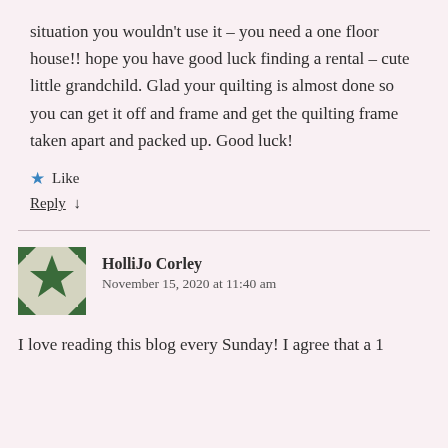situation you wouldn't use it – you need a one floor house!! hope you have good luck finding a rental – cute little grandchild. Glad your quilting is almost done so you can get it off and frame and get the quilting frame taken apart and packed up. Good luck!
Like
Reply ↓
HolliJo Corley
November 15, 2020 at 11:40 am
I love reading this blog every Sunday! I agree that a 1